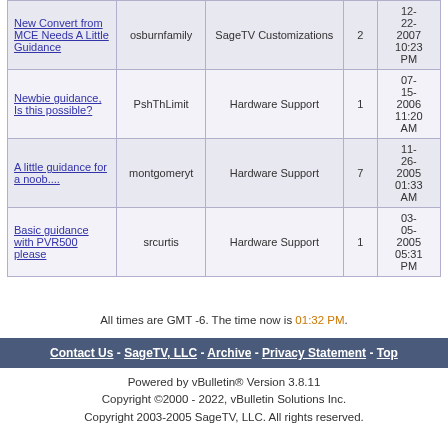| New Convert from MCE Needs A Little Guidance | osburnfamily | SageTV Customizations | 2 | 12-22-2007 10:23 PM |
| Newbie guidance, Is this possible? | PshThLimit | Hardware Support | 1 | 07-15-2006 11:20 AM |
| A little guidance for a noob.... | montgomeryt | Hardware Support | 7 | 11-26-2005 01:33 AM |
| Basic guidance with PVR500 please | srcurtis | Hardware Support | 1 | 03-05-2005 05:31 PM |
All times are GMT -6. The time now is 01:32 PM.
Contact Us - SageTV, LLC - Archive - Privacy Statement - Top
Powered by vBulletin® Version 3.8.11
Copyright ©2000 - 2022, vBulletin Solutions Inc.
Copyright 2003-2005 SageTV, LLC. All rights reserved.